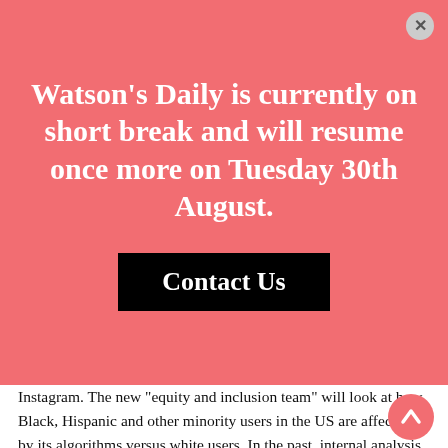Watson's Daily is currently on short break and will resume once more on Tuesday 30th August.
Contact Us
Instagram. The new "equity and inclusion team" will look at how Black, Hispanic and other minority users in the US are affected by its algorithms versus white users. In the past, internal analysis revealed that black users were 50% more likely to have their accounts disabled under new guidelines. * SO WHAT? * I guess this is all part of a general move to make Facebook more responsible but of course, they've only just started doing something to address previous criticisms. It's good PR, but too early to tell whether it will have any effect at this early stage.
LinkedIn to lay off about 6% of its workforce (Wall Street